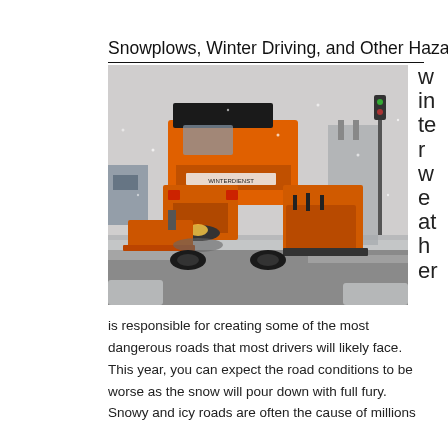Snowplows, Winter Driving, and Other Hazards
[Figure (photo): A large orange snowplow truck (labeled WINTERDIENST) seen from behind clearing a snowy road, with a salt spreader visible at the rear and a plow blade on the side. Snowy winter scene.]
winter weather is responsible for creating some of the most dangerous roads that most drivers will likely face. This year, you can expect the road conditions to be worse as the snow will pour down with full fury. Snowy and icy roads are often the cause of millions